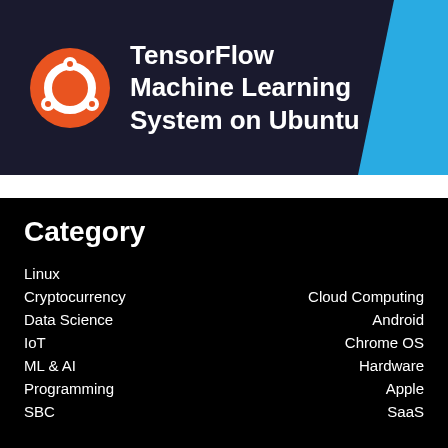[Figure (illustration): Banner image showing Ubuntu logo (orange circle with white dots) on dark blue/navy background with light blue accent on right, bold white text reading 'TensorFlow Machine Learning System on Ubuntu']
How To Install TensorFlow Machine Learning System on Ubuntu Linux
Category
Linux
Cryptocurrency | Cloud Computing
Data Science | Android
IoT | Chrome OS
ML & AI | Hardware
Programming | Apple
SBC | SaaS